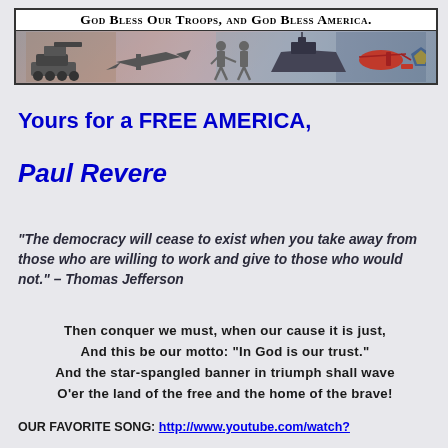[Figure (illustration): Military banner with text 'God Bless Our Troops, and God Bless America.' and images of military vehicles and personnel including a tank, jet, soldiers, ship, helicopter, and Pentagon seal]
Yours for a FREE AMERICA,
Paul Revere
“The democracy will cease to exist when you take away from those who are willing to work and give to those who would not.” – Thomas Jefferson
Then conquer we must, when our cause it is just,
And this be our motto: “In God is our trust.”
And the star-spangled banner in triumph shall wave
O’er the land of the free and the home of the brave!
OUR FAVORITE SONG: http://www.youtube.com/watch?